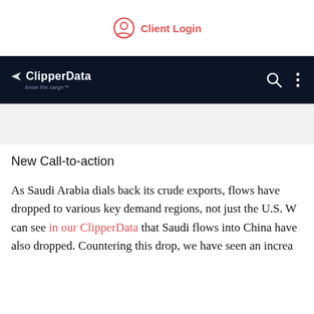Client Login
[Figure (logo): ClipperData navigation bar with logo, search icon, and menu icon on dark navy background]
New Call-to-action
As Saudi Arabia dials back its crude exports, flows have dropped to various key demand regions, not just the U.S. W can see in our ClipperData that Saudi flows into China have also dropped. Countering this drop, we have seen an increa